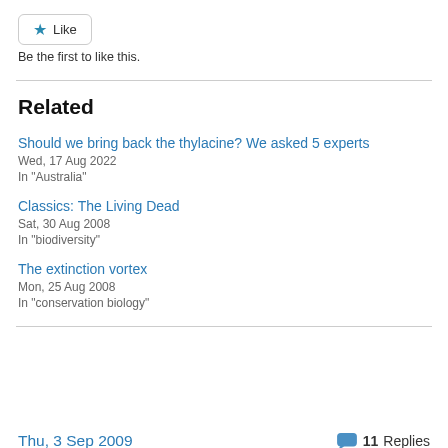Like
Be the first to like this.
Related
Should we bring back the thylacine? We asked 5 experts
Wed, 17 Aug 2022
In "Australia"
Classics: The Living Dead
Sat, 30 Aug 2008
In "biodiversity"
The extinction vortex
Mon, 25 Aug 2008
In "conservation biology"
Thu, 3 Sep 2009   11 Replies